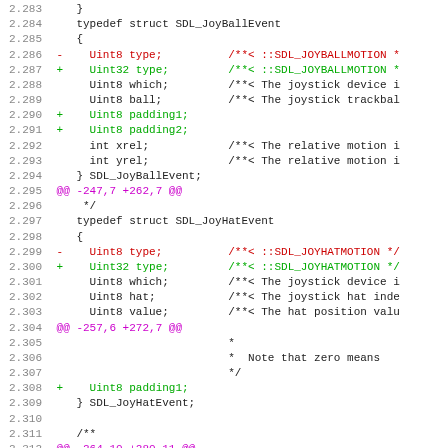[Figure (screenshot): Code diff view showing C typedef struct declarations for SDL joystick events with line numbers 2.284-2.315, including SDL_JoyBallEvent and SDL_JoyHatEvent structures with red (removed) and green (added) diff lines and magenta diff hunk markers.]